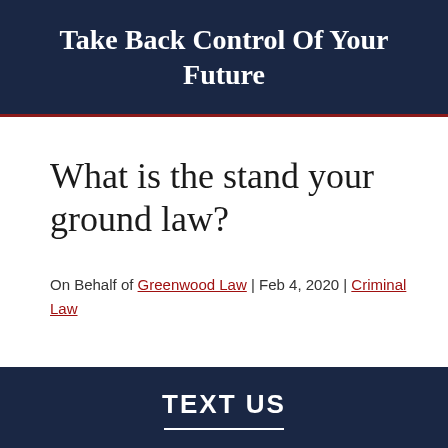Take Back Control Of Your Future
What is the stand your ground law?
On Behalf of Greenwood Law | Feb 4, 2020 | Criminal Law
TEXT US